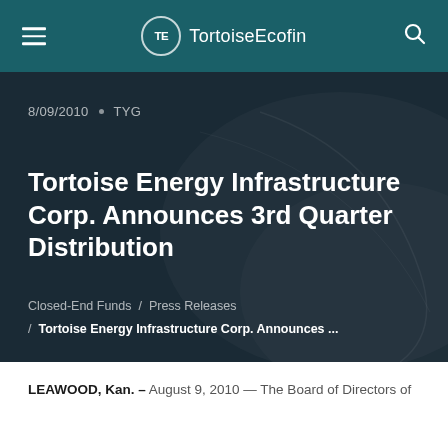TortoiseEcofin
8/09/2010 · TYG
Tortoise Energy Infrastructure Corp. Announces 3rd Quarter Distribution
Closed-End Funds / Press Releases / Tortoise Energy Infrastructure Corp. Announces ...
LEAWOOD, Kan. – August 9, 2010 — The Board of Directors of